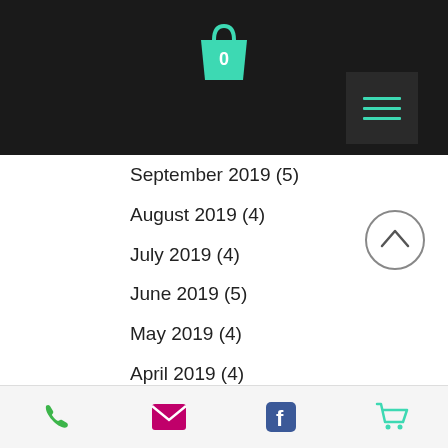[Figure (screenshot): Dark header bar with teal shopping bag icon showing 0 items, and a dark hamburger menu button with teal lines in top right]
September 2019 (5)
August 2019 (4)
July 2019 (4)
June 2019 (5)
May 2019 (4)
April 2019 (4)
March 2019 (5)
February 2019 (4)
January 2019 (3)
December 2018 (5)
November 2018 (4)
October 2018 (4)
September 2018 (5)
Phone | Email | Facebook | Cart